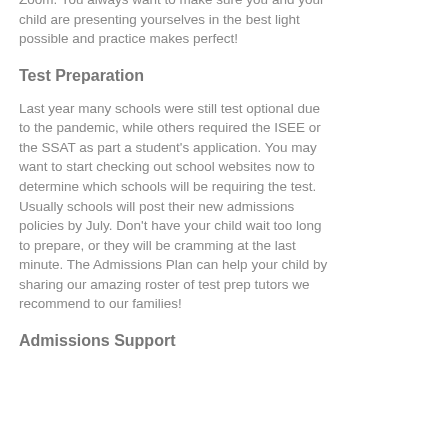Zoom. You always want to make sure you and your child are presenting yourselves in the best light possible and practice makes perfect!
Test Preparation
Last year many schools were still test optional due to the pandemic, while others required the ISEE or the SSAT as part a student's application. You may want to start checking out school websites now to determine which schools will be requiring the test. Usually schools will post their new admissions policies by July. Don't have your child wait too long to prepare, or they will be cramming at the last minute. The Admissions Plan can help your child by sharing our amazing roster of test prep tutors we recommend to our families!
Admissions Support